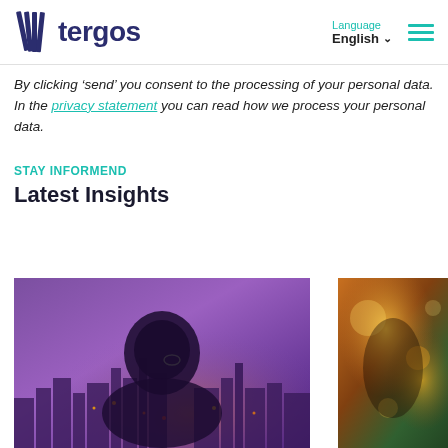tergos | Language English
By clicking 'send' you consent to the processing of your personal data. In the privacy statement you can read how we process your personal data.
STAY INFORMEND
Latest Insights
[Figure (photo): Double exposure photo of a man silhouetted against a glowing purple cityscape at night]
[Figure (photo): Partially visible photo with warm orange and green tones, appears to show a person or scene with bokeh lighting]